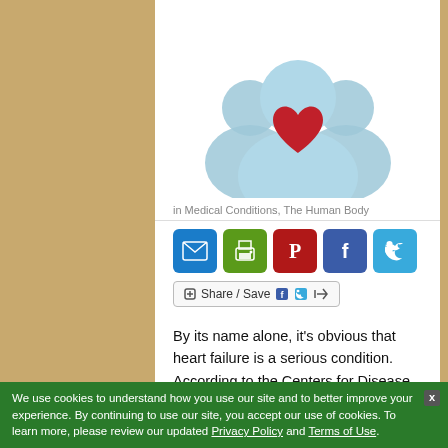[Figure (illustration): Three people silhouettes in blue/teal with a red heart on the center figure's chest]
in Medical Conditions, The Human Body
[Figure (infographic): Social sharing icons: email (blue), print (green), Pinterest (red), Facebook (blue), Twitter (blue)]
[Figure (infographic): Share / Save button with Facebook and Twitter icons]
By its name alone, it's obvious that heart failure is a serious condition. According to the Centers for Disease Control and Prevention (CDC), people living with this condition face a grim outlook, with roughly half dying within five years
We use cookies to understand how you use our site and to better improve your experience. By continuing to use our site, you accept our use of cookies. To learn more, please review our updated Privacy Policy and Terms of Use.